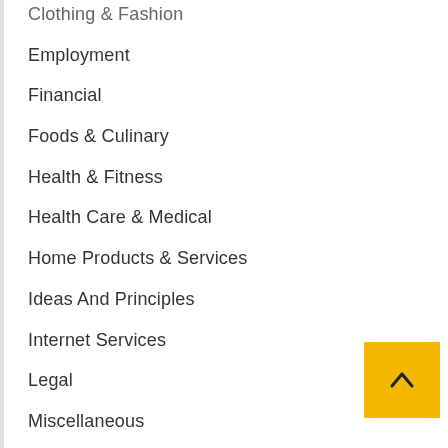Clothing & Fashion
Employment
Financial
Foods & Culinary
Health & Fitness
Health Care & Medical
Home Products & Services
Ideas And Principles
Internet Services
Legal
Miscellaneous
Online Home Business
Online services
Online Store
Personal Products & Services